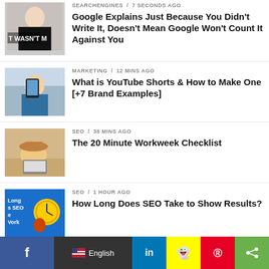[Figure (photo): Woman in black shirt with text 'WASN'T M' visible]
SEARCHENGINES / 7 seconds ago
Google Explains Just Because You Didn't Write It, Doesn't Mean Google Won't Count It Against You
[Figure (photo): Person taking a selfie with phone outdoors]
MARKETING / 12 mins ago
What is YouTube Shorts & How to Make One [+7 Brand Examples]
[Figure (photo): Person lying on beach with laptop and hat]
SEO / 38 mins ago
The 20 Minute Workweek Checklist
[Figure (illustration): Blue graphic with clock and text 'How Long Does SEO Take to Show Results']
SEO / 1 hour ago
How Long Does SEO Take to Show Results?
[Figure (screenshot): Social media app screenshot]
SOCIAL / 2 hours ago
Instagram Faces More User Backlash as it
[Figure (infographic): Social sharing bar with Facebook, English language selector, LinkedIn, Snapchat, Pinterest, share buttons]